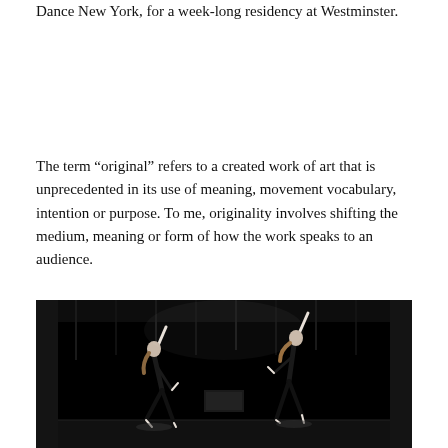Dance New York, for a week-long residency at Westminster.
The term “original” refers to a created work of art that is unprecedented in its use of meaning, movement vocabulary, intention or purpose. To me, originality involves shifting the medium, meaning or form of how the work speaks to an audience.
[Figure (photo): Black and white photograph of two dancers in dark clothing on a dark stage. Left dancer leans back with one arm raised, right dancer mirrors the pose with arm reaching upward. Dark curtains and black floor visible.]